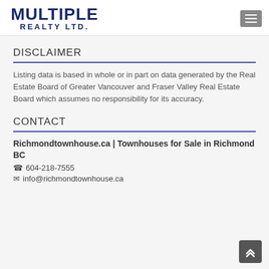[Figure (logo): Multiple Realty Ltd. logo with dark blue bold text]
DISCLAIMER
Listing data is based in whole or in part on data generated by the Real Estate Board of Greater Vancouver and Fraser Valley Real Estate Board which assumes no responsibility for its accuracy.
CONTACT
Richmondtownhouse.ca | Townhouses for Sale in Richmond BC
604-218-7555
info@richmondtownhouse.ca